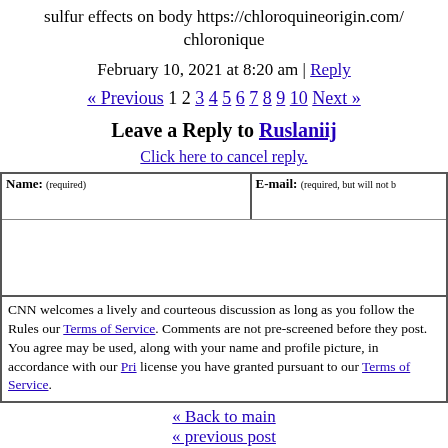sulfur effects on body https://chloroquineorigin.com/ chloronique
February 10, 2021 at 8:20 am | Reply
« Previous 1 2 3 4 5 6 7 8 9 10 Next »
Leave a Reply to Ruslaniij
Click here to cancel reply.
CNN welcomes a lively and courteous discussion as long as you follow the Rules our Terms of Service. Comments are not pre-screened before they post. You agree may be used, along with your name and profile picture, in accordance with our Pri license you have granted pursuant to our Terms of Service.
« Back to main
« previous post